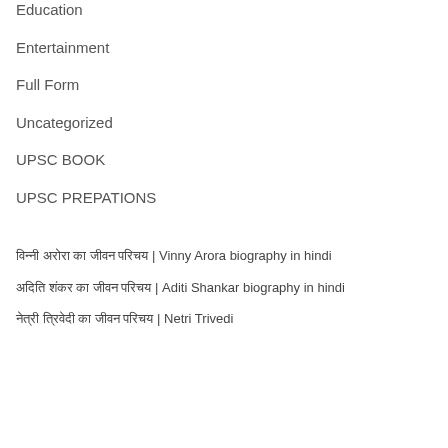Education
Entertainment
Full Form
Uncategorized
UPSC BOOK
UPSC PREPATIONS
विन्नी अरोरा का जीवन परिचय | Vinny Arora biography in hindi
अदिति शंकर का जीवन परिचय | Aditi Shankar biography in hindi
नेत्री त्रिवेदी का जीवन परिचय | Netri Trivedi